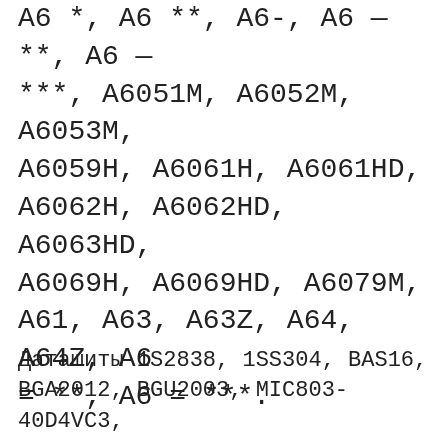А6 *, А6 **, А6-, А6 — **, А6 — ***, А6051М, А6052М, А6053М, А6059Н, А6061Н, А6061НD, А6062Н, А6062НD, А6063НD, А6069Н, А6069НD, А6079М, А61, А63, А63Z, А64, А64Z, А6 = **, А6 = ***.
Даташиты 1S2838, 1SS304, BAS16, BGA2012, BGU2003, MIC803-40D4VC3,